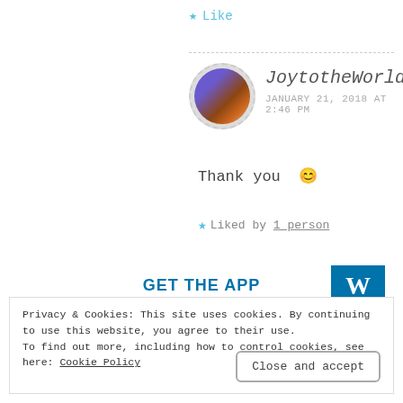★ Like
JoytotheWorld
JANUARY 21, 2018 AT 2:46 PM
Thank you 😊
★ Liked by 1 person
GET THE APP
Privacy & Cookies: This site uses cookies. By continuing to use this website, you agree to their use. To find out more, including how to control cookies, see here: Cookie Policy
Close and accept